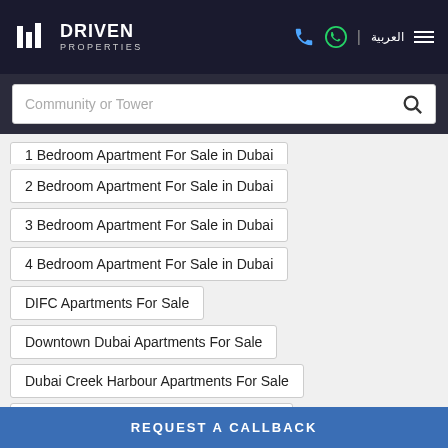DRIVEN PROPERTIES
1 Bedroom Apartment For Sale in Dubai
2 Bedroom Apartment For Sale in Dubai
3 Bedroom Apartment For Sale in Dubai
4 Bedroom Apartment For Sale in Dubai
DIFC Apartments For Sale
Downtown Dubai Apartments For Sale
Dubai Creek Harbour Apartments For Sale
Silicon Oasis Dubai Apartments For Sale
JBR Dubai Apartments For Sale
REQUEST A CALLBACK